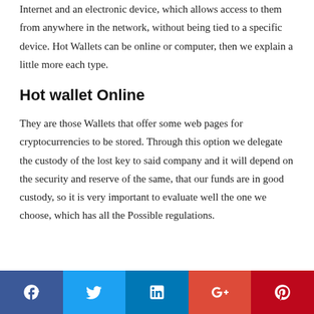Internet and an electronic device, which allows access to them from anywhere in the network, without being tied to a specific device. Hot Wallets can be online or computer, then we explain a little more each type.
Hot wallet Online
They are those Wallets that offer some web pages for cryptocurrencies to be stored. Through this option we delegate the custody of the lost key to said company and it will depend on the security and reserve of the same, that our funds are in good custody, so it is very important to evaluate well the one we choose, which has all the Possible regulations.
[Figure (infographic): Social media share bar with Facebook, Twitter, LinkedIn, Google+, and Pinterest buttons]